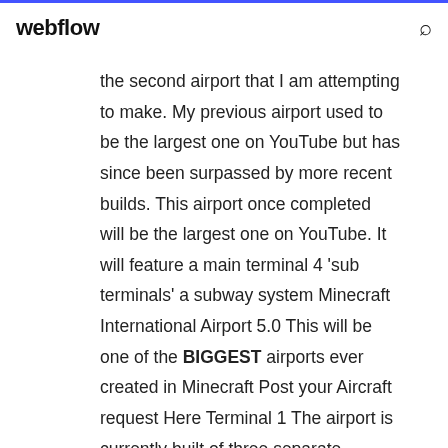webflow
the second airport that I am attempting to make. My previous airport used to be the largest one on YouTube but has since been surpassed by more recent builds. This airport once completed will be the largest one on YouTube. It will feature a main terminal 4 'sub terminals' a subway system Minecraft International Airport 5.0 This will be one of the BIGGEST airports ever created in Minecraft Post your Aircraft request Here Terminal 1 The airport is currently built of three separate complexes the main terminal building and two satellite piers namely Terminal 1A 1B and 1C. They are Instagram is a useful asset with more than 1 billion direct...